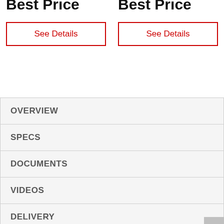Best Price
Best Price
See Details
See Details
OVERVIEW
SPECS
DOCUMENTS
VIDEOS
DELIVERY
WARRANTY